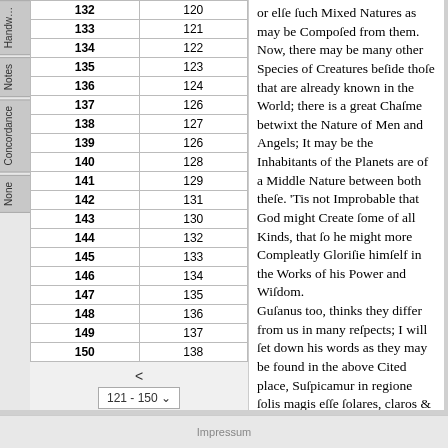|  |  |
| --- | --- |
| 132 | 120 |
| 133 | 121 |
| 134 | 122 |
| 135 | 123 |
| 136 | 124 |
| 137 | 126 |
| 138 | 127 |
| 139 | 126 |
| 140 | 128 |
| 141 | 129 |
| 142 | 131 |
| 143 | 130 |
| 144 | 132 |
| 145 | 133 |
| 146 | 134 |
| 147 | 135 |
| 148 | 136 |
| 149 | 137 |
| 150 | 138 |
or elſe ſuch Mixed Natures as may be Compoſed from them. Now, there may be many other Species of Creatures beſide thoſe that are already known in the World; there is a great Chaſme betwixt the Nature of Men and Angels; It may be the Inhabitants of the Planets are of a Middle Nature between both theſe. 'Tis not Improbable that God might Create ſome of all Kinds, that ſo he might more Compleatly Gloriſie himſelf in the Works of his Power and Wiſdom. Guſanus too, thinks they differ from us in many reſpects; I will ſet down his words as they may be found in the above Cited place, Suſpicamur in regione ſolis magis eſſe ſolares, claros & illuminatos intellectuales habitatores, ſpiritualiores etiam quàm in lunâ ubi magis lunatici, & in terra magis materiales, & craſſi, ut illi intellectualis naturæ ſolares ſint multum in actu & parum in potentia, terreni verò magis in potentia, & parum in actu, lunares in medio fluctuantes. Hoc quidem opinamur ex influentia ignili ſolis, aquatica
Impressum